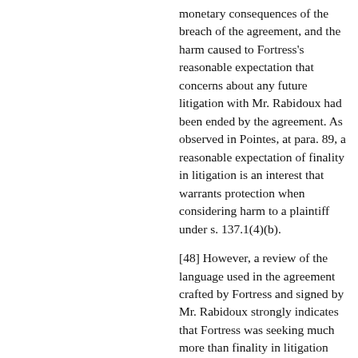monetary consequences of the breach of the agreement, and the harm caused to Fortress's reasonable expectation that concerns about any future litigation with Mr. Rabidoux had been ended by the agreement. As observed in Pointes, at para. 89, a reasonable expectation of finality in litigation is an interest that warrants protection when considering harm to a plaintiff under s. 137.1(4)(b).
[48] However, a review of the language used in the agreement crafted by Fortress and signed by Mr. Rabidoux strongly indicates that Fortress was seeking much more than finality in litigation when it drafted this agreement. The